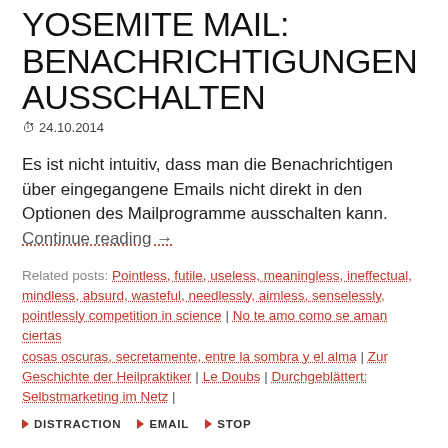YOSEMITE MAIL: BENACHRICHTIGUNGEN AUSSCHALTEN
24.10.2014
Es ist nicht intuitiv, dass man die Benachrichtigen über eingegangene Emails nicht direkt in den Optionen des Mailprogramme ausschalten kann. Continue reading →
Related posts: Pointless, futile, useless, meaningless, ineffectual, mindless, absurd, wasteful, needlessly, aimless, senselessly, pointlessly competition in science | No te amo como se aman ciertas cosas oscuras, secretamente, entre la sombra y el alma | Zur Geschichte der Heilpraktiker | Le Doubs | Durchgeblättert: Selbstmarketing im Netz |
▶ DISTRACTION ▶ EMAIL ▶ STOP